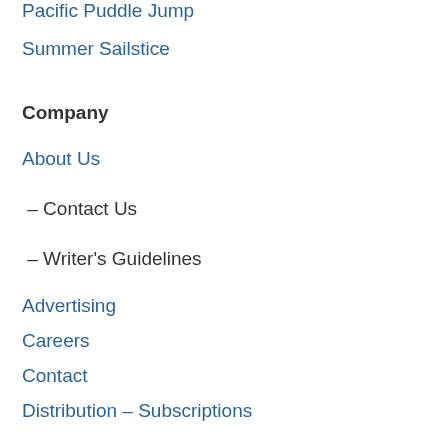Pacific Puddle Jump
Summer Sailstice
Company
About Us
– Contact Us
– Writer's Guidelines
Advertising
Careers
Contact
Distribution – Subscriptions
Store